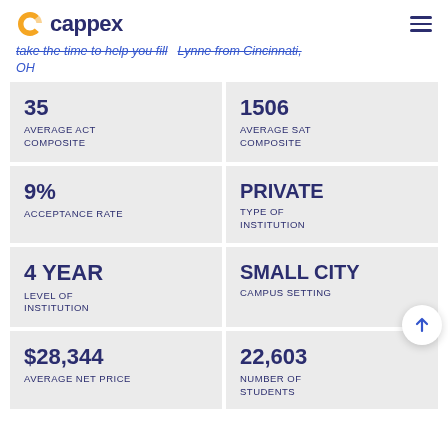cappex
take the time to help you fill ... Lynne from Cincinnati, OH
| Metric | Value |
| --- | --- |
| AVERAGE ACT COMPOSITE | 35 |
| AVERAGE SAT COMPOSITE | 1506 |
| ACCEPTANCE RATE | 9% |
| TYPE OF INSTITUTION | PRIVATE |
| LEVEL OF INSTITUTION | 4 YEAR |
| CAMPUS SETTING | SMALL CITY |
| AVERAGE NET PRICE | $28,344 |
| NUMBER OF STUDENTS | 22,603 |